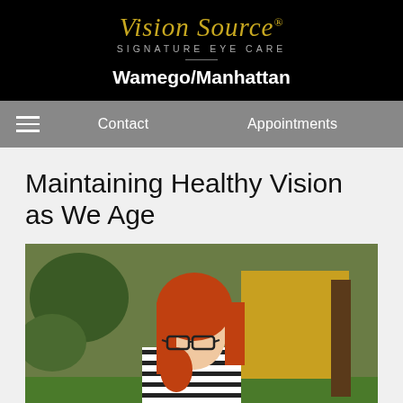Vision Source SIGNATURE EYE CARE Wamego/Manhattan
Contact | Appointments
Maintaining Healthy Vision as We Age
[Figure (photo): A young woman with long red hair wearing black glasses and a black and white striped shirt, photographed outdoors with trees and a yellow building in the background.]